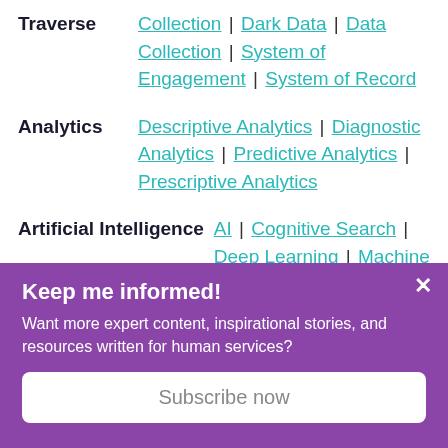Traverse: Collection | Dark Data | Data Collection | System of Engagement | System of Record
Analytics: Descriptive Analytics | Diagnostic Analytics | Predictive Analytics | Prescriptive Analytics
Artificial Intelligence: AI | Cognitive Search | Deep Learning | Machine Learning
Automated Function | CWCA | Data
Keep me informed!
Want more expert content, inspirational stories, and resources written for human services?
Subscribe now